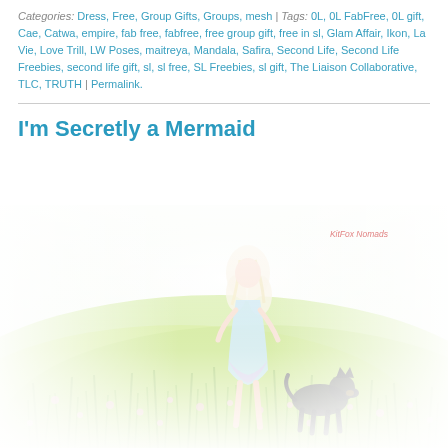Categories: Dress, Free, Group Gifts, Groups, mesh | Tags: 0L, 0L FabFree, 0L gift, Cae, Catwa, empire, fab free, fabfree, free group gift, free in sl, Glam Affair, Ikon, La Vie, Love Trill, LW Poses, maitreya, Mandala, Safira, Second Life, Second Life Freebies, second life gift, sl, sl free, SL Freebies, sl gift, The Liaison Collaborative, TLC, TRUTH | Permalink.
I'm Secretly a Mermaid
[Figure (photo): A virtual world (Second Life) scene showing a blonde female avatar in a pastel blue/pink dress standing in a green meadow with pink flowers, accompanied by a black German Shepherd dog. The background is bright and hazy white. A pink cursive watermark/photo credit is visible in the upper right of the image.]